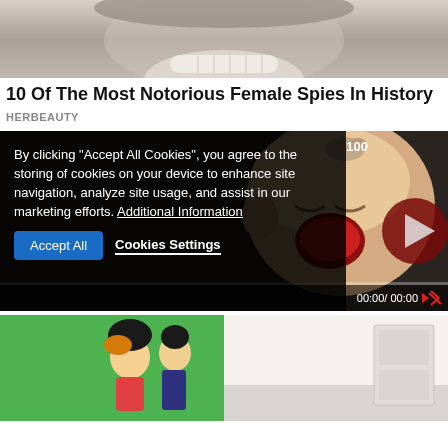[Figure (photo): Black and white photo of a smiling woman, cropped to show lower face/smile]
10 Of The Most Notorious Female Spies In History
HERBEAUTY
[Figure (screenshot): Video player showing a crying baby, with a cookie consent overlay. Cookie text: By clicking "Accept All Cookies", you agree to the storing of cookies on your device to enhance site navigation, analyze site usage, and assist in our marketing efforts. Additional Information. Buttons: Accept All, Cookies Settings. Video timestamp: 00:00/ 00:00]
[Figure (photo): Split image: left side shows an animated cartoon character on green background, right side shows a real room/bathroom scene]